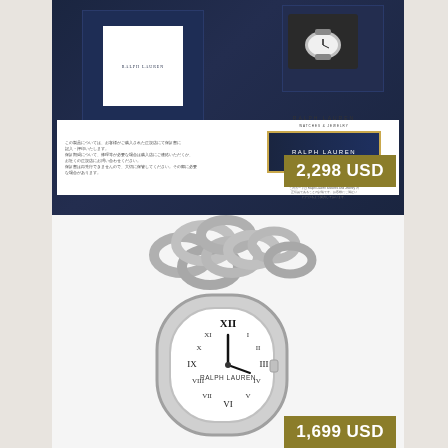[Figure (photo): Ralph Lauren watch box set on dark navy background with watch case box on right and navy booklet/documentation box on left, and white warranty card document strip at bottom showing Ralph Lauren branded card with gold border]
2,298 USD
[Figure (photo): Close-up of a Ralph Lauren silver chain-link bracelet watch with white dial showing Roman numerals and black hands, with thick interlocking chain links visible]
1,699 USD